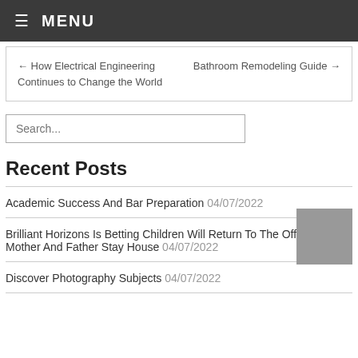MENU
← How Electrical Engineering Continues to Change the World    Bathroom Remodeling Guide →
Search...
Recent Posts
Academic Success And Bar Preparation 04/07/2022
Brilliant Horizons Is Betting Children Will Return To The Office, Even If Mother And Father Stay House 04/07/2022
Discover Photography Subjects 04/07/2022